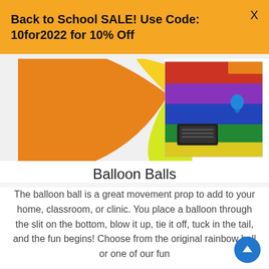Back to School SALE! Use Code: 10for2022 for 10% Off
[Figure (photo): Left: close-up of a colorful rainbow balloon ball showing orange, yellow, and lime green segments. Right: the deflated rainbow ball cover fabric folded, showing red, purple, blue, and green panels with a brand label tag and a blue balloon knot visible.]
Balloon Balls
The balloon ball is a great movement prop to add to your home, classroom, or clinic. You place a balloon through the slit on the bottom, blow it up, tie it off, tuck in the tail, and the fun begins! Choose from the original rainbow ball or one of our fun